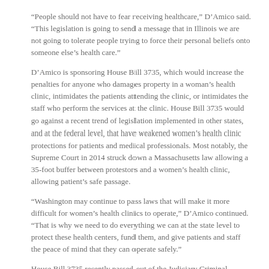“People should not have to fear receiving healthcare,” D’Amico said. “This legislation is going to send a message that in Illinois we are not going to tolerate people trying to force their personal beliefs onto someone else’s health care.”
D’Amico is sponsoring House Bill 3735, which would increase the penalties for anyone who damages property in a woman’s health clinic, intimidates the patients attending the clinic, or intimidates the staff who perform the services at the clinic. House Bill 3735 would go against a recent trend of legislation implemented in other states, and at the federal level, that have weakened women’s health clinic protections for patients and medical professionals. Most notably, the Supreme Court in 2014 struck down a Massachusetts law allowing a 35-foot buffer between protestors and a women’s health clinic, allowing patient’s safe passage.
“Washington may continue to pass laws that will make it more difficult for women’s health clinics to operate,” D’Amico continued. “That is why we need to do everything we can at the state level to protect these health centers, fund them, and give patients and staff the peace of mind that they can operate safely.”
House Bill 3735 recently passed out of the Judiciary Criminal Committee and now goes to the full House for approval.